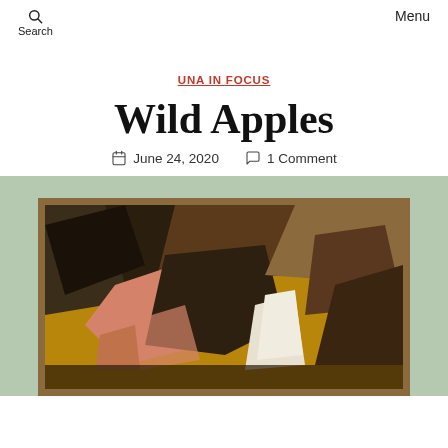Search | Menu
UNA IN FOCUS
Wild Apples
June 24, 2020  1 Comment
[Figure (photo): A framed abstract painting with geometric shapes in dark brown, black, yellow, salmon pink, and white tones, displayed against a sage green background.]